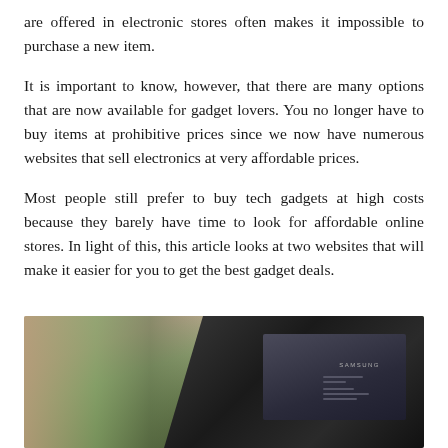are offered in electronic stores often makes it impossible to purchase a new item.
It is important to know, however, that there are many options that are now available for gadget lovers. You no longer have to buy items at prohibitive prices since we now have numerous websites that sell electronics at very affordable prices.
Most people still prefer to buy tech gadgets at high costs because they barely have time to look for affordable online stores. In light of this, this article looks at two websites that will make it easier for you to get the best gadget deals.
[Figure (photo): A Samsung tablet/laptop device photographed against a blurred warm background with green foliage, showing the device screen with Samsung branding visible.]